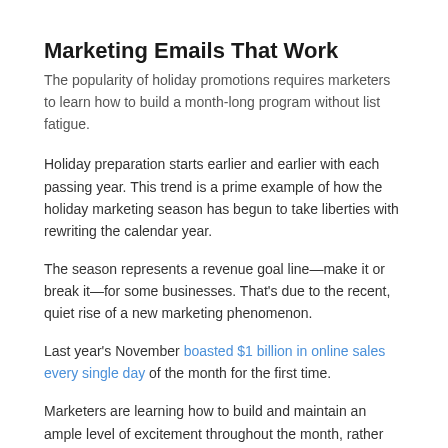Marketing Emails That Work
The popularity of holiday promotions requires marketers to learn how to build a month-long program without list fatigue.
Holiday preparation starts earlier and earlier with each passing year. This trend is a prime example of how the holiday marketing season has begun to take liberties with rewriting the calendar year.
The season represents a revenue goal line—make it or break it—for some businesses. That's due to the recent, quiet rise of a new marketing phenomenon.
Last year's November boasted $1 billion in online sales every single day of the month for the first time.
Marketers are learning how to build and maintain an ample level of excitement throughout the month, rather than solely focusing on single-day events like